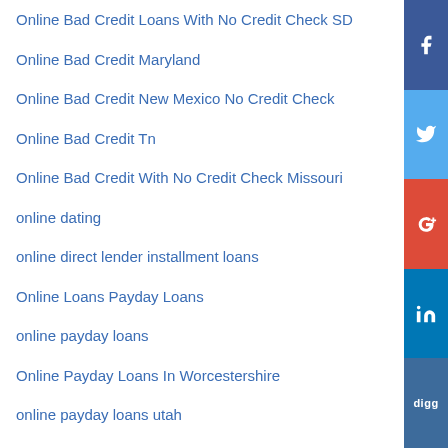Online Bad Credit Loans With No Credit Check SD
Online Bad Credit Maryland
Online Bad Credit New Mexico No Credit Check
Online Bad Credit Tn
Online Bad Credit With No Credit Check Missouri
online dating
online direct lender installment loans
Online Loans Payday Loans
online payday loans
Online Payday Loans In Worcestershire
online payday loans utah
Online Personal Loans Arizona Direct Lenders
Online Personal Loans Arkansas No Credit Check
Online Personal Loans Direct Lenders WV